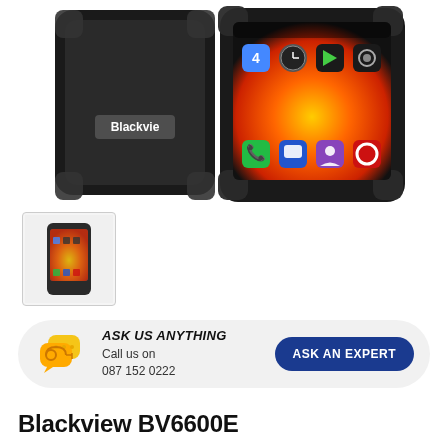[Figure (photo): Close-up product photo of a Blackview rugged smartphone with black case, showing the device's screen with Android app icons including a calendar, clock, Play Store, camera, phone, messaging, contacts, and Opera browser icons displayed on a fiery orange/yellow wallpaper. The Blackview logo is visible on the side of the device.]
[Figure (photo): Thumbnail image of the Blackview BV6600E rugged smartphone showing the full device front view.]
ASK US ANYTHING
Call us on
087 152 0222
ASK AN EXPERT
Blackview BV6600E